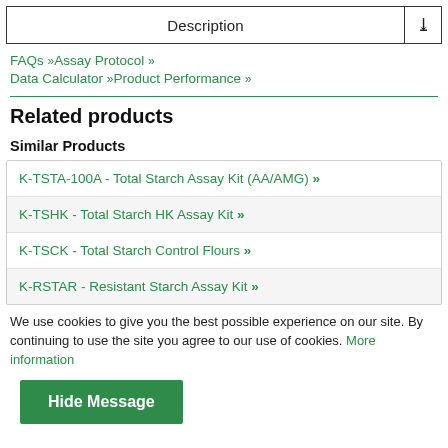Description
FAQs »
Assay Protocol »
Data Calculator »
Product Performance »
Related products
Similar Products
K-TSTA-100A - Total Starch Assay Kit (AA/AMG) »
K-TSHK - Total Starch HK Assay Kit »
K-TSCK - Total Starch Control Flours »
K-RSTAR - Resistant Starch Assay Kit »
We use cookies to give you the best possible experience on our site. By continuing to use the site you agree to our use of cookies. More information